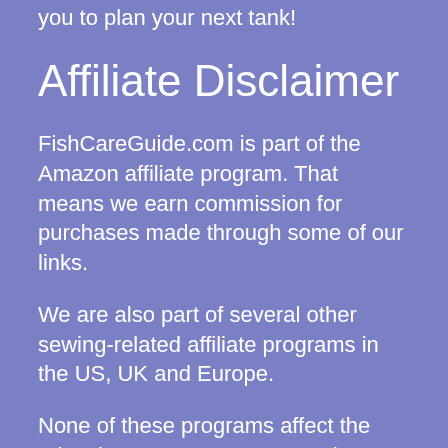you to plan your next tank!
Affiliate Disclaimer
FishCareGuide.com is part of the Amazon affiliate program. That means we earn commission for purchases made through some of our links.
We are also part of several other sewing-related affiliate programs in the US, UK and Europe.
None of these programs affect the price that you pay on any purchases made – but it does help us keep the bills paid. Thank you for your support!